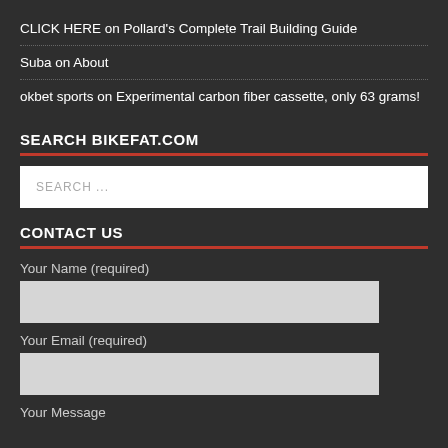CLICK HERE on Pollard's Complete Trail Building Guide
Suba on About
okbet sports on Experimental carbon fiber cassette, only 63 grams!
SEARCH BIKEFAT.COM
SEARCH ...
CONTACT US
Your Name (required)
Your Email (required)
Your Message